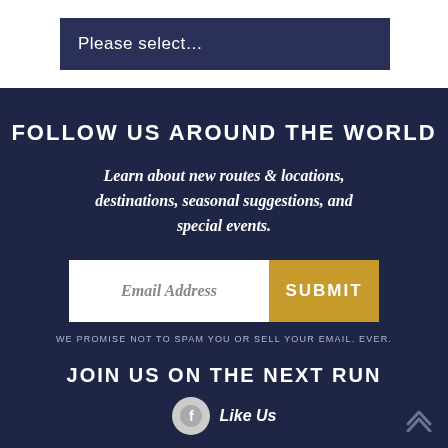Please select…
FOLLOW US AROUND THE WORLD
Learn about new routes & locations, destinations, seasonal suggestions, and special events.
Email Address
SUBMIT
WE PROMISE NOT TO SPAM YOU OR SELL YOUR EMAIL. EVER.
JOIN US ON THE NEXT RUN
Like Us